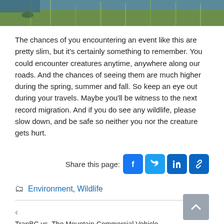[Figure (photo): Top strip of a nature/wildlife photograph showing grass and water]
The chances of you encountering an event like this are pretty slim, but it’s certainly something to remember. You could encounter creatures anytime, anywhere along our roads. And the chances of seeing them are much higher during the spring, summer and fall. So keep an eye out during your travels. Maybe you’ll be witness to the next record migration. And if you do see any wildlife, please slow down, and be safe so neither you nor the creature gets hurt.
Share this page:
Environment, Wildlife
TranBC vs. The MountainCommercial Vehicle Safety Enforcement at